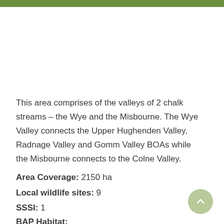This area comprises of the valleys of 2 chalk streams – the Wye and the Misbourne. The Wye Valley connects the Upper Hughenden Valley, Radnage Valley and Gomm Valley BOAs while the Misbourne connects to the Colne Valley.
Area Coverage: 2150 ha
Local wildlife sites: 9
SSSI: 1
BAP Habitat: